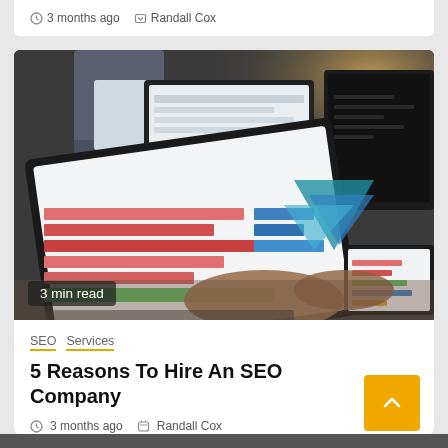3 months ago  Randall Cox
[Figure (photo): Photo of a person working with multiple screens and tablets showing data dashboards and charts, with another person interacting with a tablet in the foreground. A '3 min read' badge overlays the bottom-left corner of the image.]
SEO  Services
5 Reasons To Hire An SEO Company
3 months ago  Randall Cox